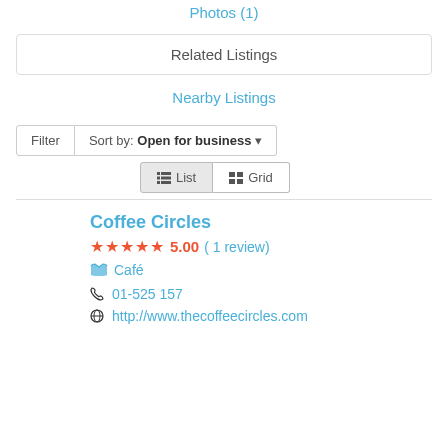Photos (1)
Related Listings
Nearby Listings
Filter  Sort by: Open for business
List  Grid
Coffee Circles
5.00 ( 1 review)
Café
01-525 157
http://www.thecoffeecircles.com